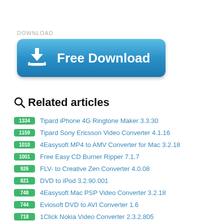DOWNLOAD
[Figure (illustration): Blue rounded rectangle button with download arrow icon and text 'Free Download']
Related articles
1334 Tipard iPhone 4G Ringtone Maker 3.3.30
1159 Tipard Sony Ericsson Video Converter 4.1.16
1010 4Easysoft MP4 to AMV Converter for Mac 3.2.18
1001 Free Easy CD Burner Ripper 7.1.7
926 FLV- to Creative Zen Converter 4.0.08
821 DVD to iPod 3.2.90.001
748 4Easysoft Mac PSP Video Converter 3.2.18
744 Eviosoft DVD to AVI Converter 1.6
718 1Click Nokia Video Converter 2.3.2.805